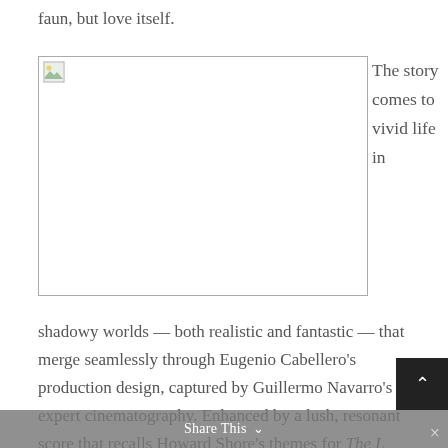faun, but love itself.
[Figure (photo): Image placeholder with broken image icon — a rectangular bordered area with a small image icon in the top-left corner]
The story comes to vivid life in
shadowy worlds — both realistic and fantastic — that merge seamlessly through Eugenio Cabellero's production design, captured by Guillermo Navarro's expert cinematography. Enhanced by a lush, resonant score that recalls Howard Shore's themes for The L…
Share This